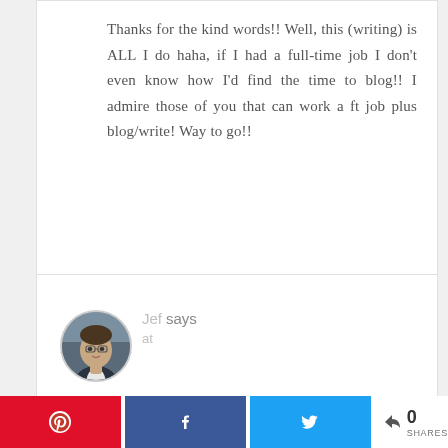Thanks for the kind words!! Well, this (writing) is ALL I do haha, if I had a full-time job I don't even know how I'd find the time to blog!! I admire those of you that can work a ft job plus blog/write! Way to go!!
[Figure (photo): Circular avatar photo of a young man named Jef wearing a suit, with short hair and glasses]
Jef says
at
Awesome work Sarah! Well deserved and